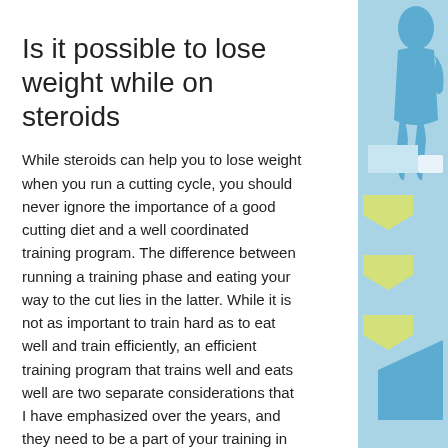Is it possible to lose weight while on steroids
While steroids can help you to lose weight when you run a cutting cycle, you should never ignore the importance of a good cutting diet and a well coordinated training program. The difference between running a training phase and eating your way to the cut lies in the latter. While it is not as important to train hard as to eat well and train efficiently, an efficient training program that trains well and eats well are two separate considerations that I have emphasized over the years, and they need to be a part of your training in an efficient way, cutting steroid tablets.
[Figure (illustration): Decorative geometric and human figure illustration on the right side of the page with blue, light blue, and yellow-green shapes]